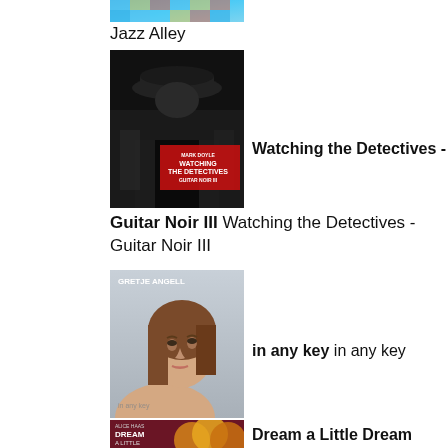[Figure (photo): Partial album art for Jazz Alley - colorful pixel-art style, cropped at top]
Jazz Alley
[Figure (photo): Album cover: Watching the Detectives - Guitar Noir III by Mark Doyle. Black and white noir style image of man in hat. Red text overlay.]
Watching the Detectives -
Guitar Noir III Watching the Detectives - Guitar Noir III
[Figure (photo): Album cover: in any key by Gretje Angell. Portrait of woman looking upward, light blue/grey background.]
in any key in any key
[Figure (photo): Album cover: Dream a Little Dream by Alice Haas. Dark maroon background with golden/orange overlapping circles.]
Dream a Little Dream